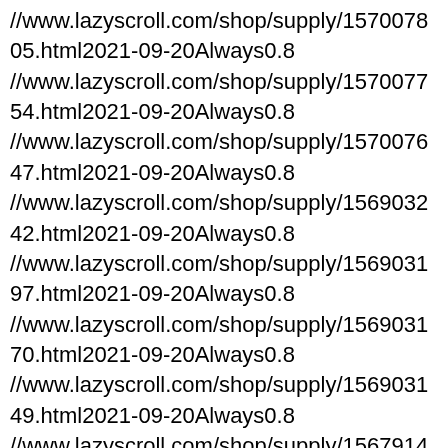//www.lazyscroll.com/shop/supply/157007805.html2021-09-20Always0.8
//www.lazyscroll.com/shop/supply/157007754.html2021-09-20Always0.8
//www.lazyscroll.com/shop/supply/157007647.html2021-09-20Always0.8
//www.lazyscroll.com/shop/supply/156903242.html2021-09-20Always0.8
//www.lazyscroll.com/shop/supply/156903197.html2021-09-20Always0.8
//www.lazyscroll.com/shop/supply/156903170.html2021-09-20Always0.8
//www.lazyscroll.com/shop/supply/156903149.html2021-09-20Always0.8
//www.lazyscroll.com/shop/supply/156791457.html2021-09-20Always0.8
//www.lazyscroll.com/shop/supply/156791416.html2021-09-20Always0.8
//www.lazyscroll.com/shop/supply/156791217.html2021-09-20Always0.8
//www.lazyscroll.com/shop/supply/156791068.html2021-09-20Always0.8
//www.lazyscroll.com/shop/supply/156676493.html2021-09-20Always0.8
//www.lazyscroll.com/shop/supply/156676415.html2021-09-